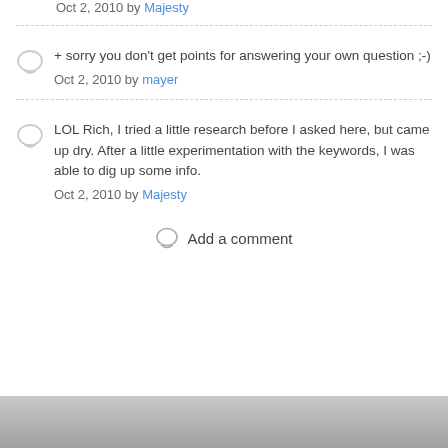Oct 2, 2010 by Majesty
+ sorry you don't get points for answering your own question ;-)
Oct 2, 2010 by mayer
LOL Rich, I tried a little research before I asked here, but came up dry. After a little experimentation with the keywords, I was able to dig up some info.
Oct 2, 2010 by Majesty
Add a comment